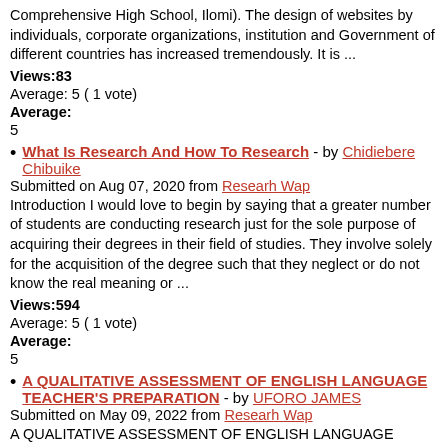Comprehensive High School, Ilomi). The design of websites by individuals, corporate organizations, institution and Government of different countries has increased tremendously. It is ...
Views:83
Average: 5 ( 1 vote)
Average:
5
What Is Research And How To Research - by Chidiebere Chibuike
Submitted on Aug 07, 2020 from Researh Wap
Introduction I would love to begin by saying that a greater number of students are conducting research just for the sole purpose of acquiring their degrees in their field of studies. They involve solely for the acquisition of the degree such that they neglect or do not know the real meaning or ...
Views:594
Average: 5 ( 1 vote)
Average:
5
A QUALITATIVE ASSESSMENT OF ENGLISH LANGUAGE TEACHER'S PREPARATION - by UFORO JAMES
Submitted on May 09, 2022 from Researh Wap
A QUALITATIVE ASSESSMENT OF ENGLISH LANGUAGE TEACHER'S PREPARATION IN THE UNIVERSITY OF CALABAR, CALABAR CROSS RIVERS STATE INTRODUCTION 1.1 Background to the Study Teaching is an active engagement that always has a result in view and no matter how energetic a lecture period ...
Views:74
Average:
0